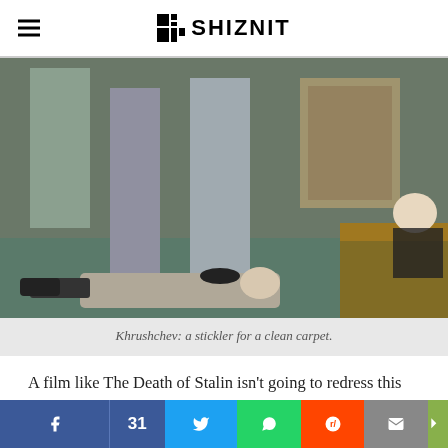THE SHIZNIT
[Figure (photo): Movie still from The Death of Stalin showing men in suits standing over a man lying on the floor, with an elderly man seated at a desk in the background]
Khrushchev: a stickler for a clean carpet.
A film like The Death of Stalin isn't going to redress this balance, but it doesn't let you forget how high the stakes were. After Stalin's death the Central Committee hastily reform around Malenkov (Jeffrey Tambor, who pla... The...